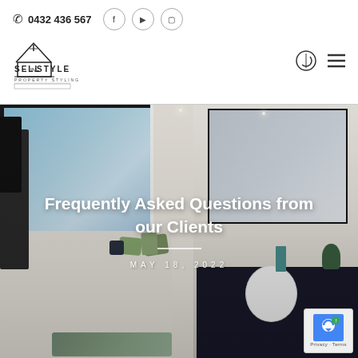0432 436 567
[Figure (logo): Sell in Style Property Styling logo with house outline]
[Figure (photo): Interior bedroom and ensuite bathroom photo used as hero background]
Frequently Asked Questions from our Clients
MAY 18, 2022